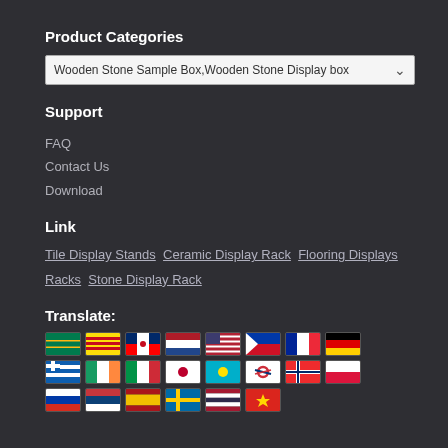Product Categories
[Figure (screenshot): Dropdown selector showing 'Wooden Stone Sample Box,Wooden Stone Display box']
Support
FAQ
Contact Us
Download
Link
Tile Display Stands  Ceramic Display Rack  Flooring Displays Racks  Stone Display Rack
Translate:
[Figure (other): Grid of country flag icons for language translation: South Africa, Catalonia, Taiwan, Netherlands, USA, Philippines, France, Germany, Greece, Ireland, Italy, Japan, Kazakhstan, South Korea, Norway, Poland, Russia, Serbia, Spain, Sweden, Thailand, Vietnam]